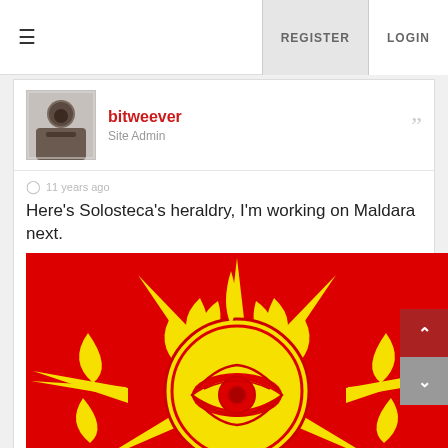≡   REGISTER   LOGIN
bitweever
Site Admin
11 years ago
Here's Solosteca's heraldry, I'm working on Maldara next.
[Figure (illustration): Heraldry illustration showing a yellow stylized sun with long pointed rays and flame-like rays on a red background. The sun has a circular body with an eye motif in the center — an almond-shaped eye with a pupil, drawn in red outline on yellow.]